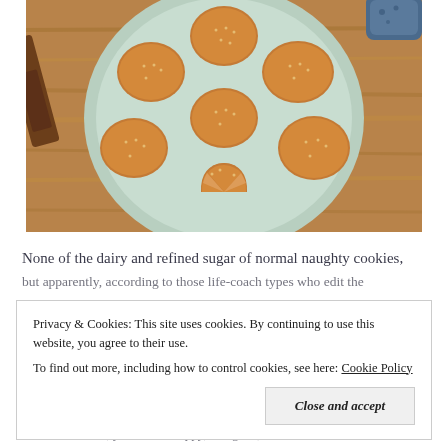[Figure (photo): Overhead photo of a light blue/green ceramic plate holding 7 round golden-brown sesame-topped cookies arranged in a circular pattern, with one cookie broken in half at the bottom. Plate is on a wooden surface; a rolling pin and a blue mug are visible in the background.]
None of the dairy and refined sugar of normal naughty cookies,
but apparently, according to those life-coach types who edit the
Privacy & Cookies: This site uses cookies. By continuing to use this website, you agree to their use.
To find out more, including how to control cookies, see here: Cookie Policy
Close and accept
follow for hours, you can be happy, energetic, and trim to and